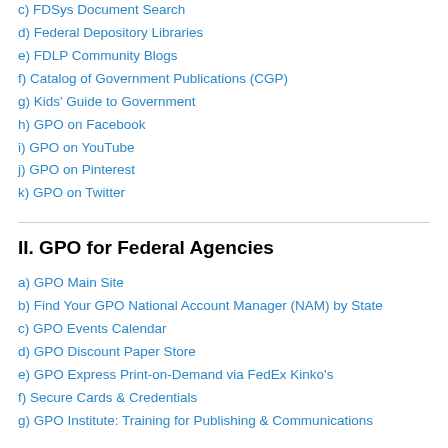c) FDSys Document Search
d) Federal Depository Libraries
e) FDLP Community Blogs
f) Catalog of Government Publications (CGP)
g) Kids' Guide to Government
h) GPO on Facebook
i) GPO on YouTube
j) GPO on Pinterest
k) GPO on Twitter
II. GPO for Federal Agencies
a) GPO Main Site
b) Find Your GPO National Account Manager (NAM) by State
c) GPO Events Calendar
d) GPO Discount Paper Store
e) GPO Express Print-on-Demand via FedEx Kinko's
f) Secure Cards & Credentials
g) GPO Institute: Training for Publishing & Communications